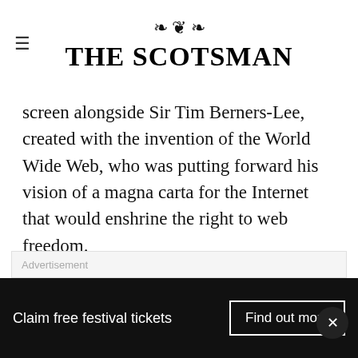THE SCOTSMAN
screen alongside Sir Tim Berners-Lee, created with the invention of the World Wide Web, who was putting forward his vision of a magna carta for the Internet that would enshrine the right to web freedom.
“It is no mystery that there are governments out there that want to see me dead,” Mr Snowden told the conference. “I don’t want to harm any governments but they can not ignore due process.”
Advertisement
Claim free festival tickets   Find out more